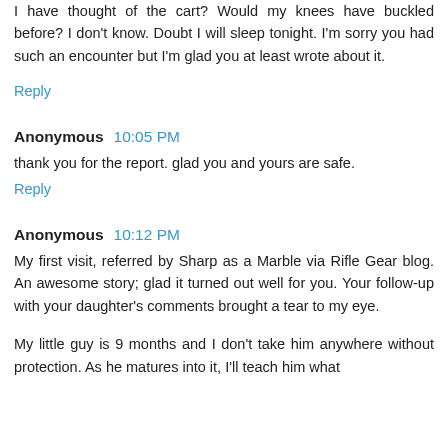I have thought of the cart? Would my knees have buckled before? I don't know. Doubt I will sleep tonight. I'm sorry you had such an encounter but I'm glad you at least wrote about it.
Reply
Anonymous 10:05 PM
thank you for the report. glad you and yours are safe.
Reply
Anonymous 10:12 PM
My first visit, referred by Sharp as a Marble via Rifle Gear blog. An awesome story; glad it turned out well for you. Your follow-up with your daughter's comments brought a tear to my eye.
My little guy is 9 months and I don't take him anywhere without protection. As he matures into it, I'll teach him what